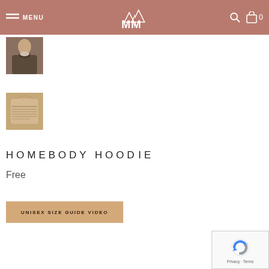MENU | MM Logo | Search | Cart 0
[Figure (photo): Small thumbnail of a person wearing a hoodie, top view]
[Figure (photo): Small thumbnail of a beige hoodie with size chart overlay]
HOMEBODY HOODIE
Free
UNISEX SIZE GUIDE VIDEO
[Figure (other): reCAPTCHA badge with Privacy and Terms links]